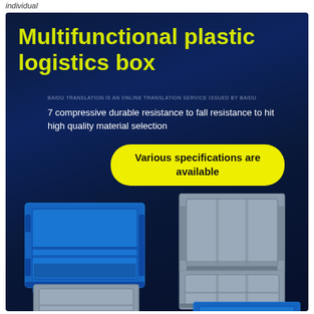individual
Multifunctional plastic logistics box
BAIDU TRANSLATION IS AN ONLINE TRANSLATION SERVICE ISSUED BY BAIDU
7 compressive durable resistance to fall resistance to hit high quality material selection
Various specifications are available
[Figure (photo): Multiple plastic logistics boxes in blue and grey colors stacked and arranged, showing various sizes of sturdy ribbed plastic storage/logistics crates against a dark navy background.]